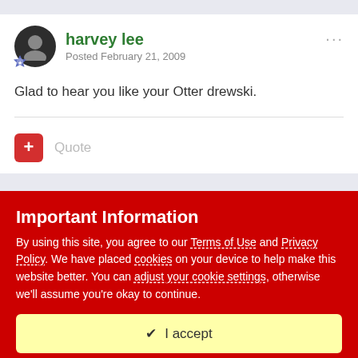harvey lee
Posted February 21, 2009
Glad to hear you like your Otter drewski.
Quote
Important Information
By using this site, you agree to our Terms of Use and Privacy Policy. We have placed cookies on your device to help make this website better. You can adjust your cookie settings, otherwise we'll assume you're okay to continue.
✔  I accept